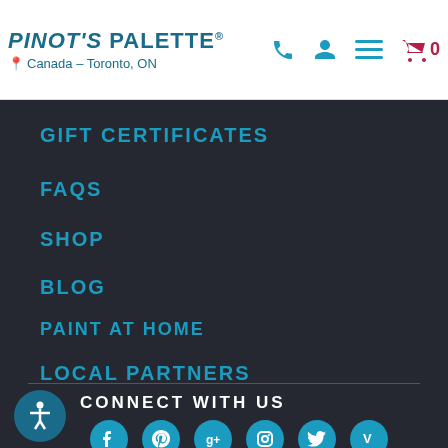Pinot's Palette — Canada - Toronto, ON
GIFT CERTIFICATES
FAQS
SHOP
BLOG
PAINT AT HOME
LOCAL PARTNERS
CONNECT WITH US
[Figure (illustration): Row of circular social media icons: Facebook, Pinterest, Google+, Instagram, Twitter, Vine]